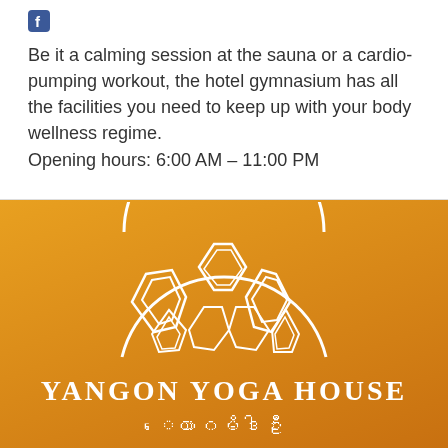[Figure (logo): Facebook icon - small blue square with white 'f' letter]
Be it a calming session at the sauna or a cardio-pumping workout, the hotel gymnasium has all the facilities you need to keep up with your body wellness regime.
Opening hours: 6:00 AM – 11:00 PM
[Figure (logo): Yangon Yoga House logo on orange gradient background. White decorative dome/arch symbol with geometric patterns above the text. Text reads YANGON YOGA HOUSE with Myanmar script below.]